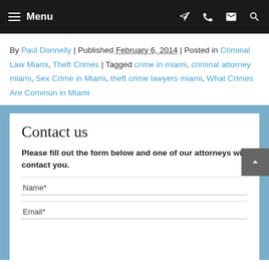Menu
By Paul Donnelly | Published February 6, 2014 | Posted in Criminal Law Miami, Theft Crimes | Tagged crime in miami, criminal attorney miami, Sex Crime in Miami, theft crime lawyers miami, What Crimes Are Common in Miami
Contact us
Please fill out the form below and one of our attorneys will contact you.
Name*
Email*